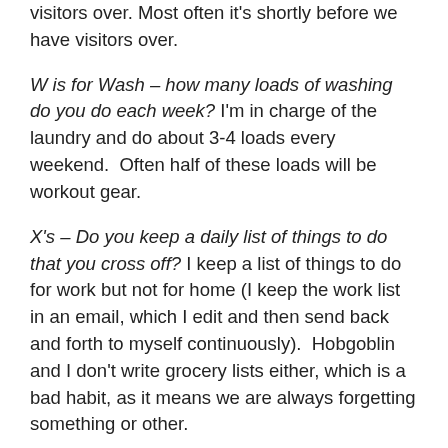visitors over. Most often it's shortly before we have visitors over.
W is for Wash – how many loads of washing do you do each week? I'm in charge of the laundry and do about 3-4 loads every weekend.  Often half of these loads will be workout gear.
X's – Do you keep a daily list of things to do that you cross off? I keep a list of things to do for work but not for home (I keep the work list in an email, which I edit and then send back and forth to myself continuously).  Hobgoblin and I don't write grocery lists either, which is a bad habit, as it means we are always forgetting something or other.
Y is for Yard – who does what? Hobgoblin takes care of the yard and I pitch in and help with things like raking leaves and shoveling snow.  He mows the yard unless